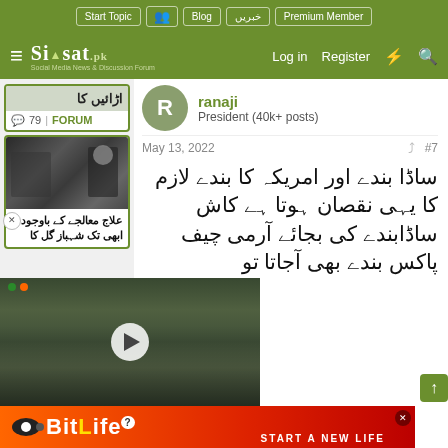Siasat.pk - Start Topic | Blog | خبریں | Premium Member | Log in | Register
اڑائیں کا
79 | FORUM
[Figure (photo): Thumbnail photo of a person]
علاج معالجے کے باوجود ابھی تک شہباز گل کا
ranaji
President (40k+ posts)
May 13, 2022  #7
ساڈا بندے اور امریکہ کا بندے لازم کا یہی نقصان ہوتا ہے کاش ساڈابندے کی بجائے آرمی چیف پاکس بندے بھی آجاتا تو
[Figure (photo): Video thumbnail showing people walking on a street with police/officials]
[Figure (other): BitLife advertisement banner - START A NEW LIFE]